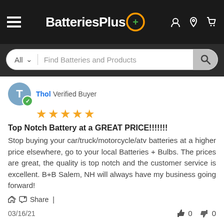[Figure (screenshot): BatteriesPlus website header with logo, hamburger menu, account icon, location pin, and cart icon]
[Figure (screenshot): Search bar with 'All' dropdown and 'Find Batteries and Products' placeholder text]
Thol Verified Buyer
[Figure (other): Five orange stars rating]
Top Notch Battery at a GREAT PRICE!!!!!!!
Stop buying your car/truck/motorcycle/atv batteries at a higher price elsewhere, go to your local Batteries + Bulbs. The prices are great, the quality is top notch and the customer service is excellent. B+B Salem, NH will always have my business going forward!
Share |
03/16/21
Barbara Verified Buyer
[Figure (other): Five orange stars rating for Barbara]